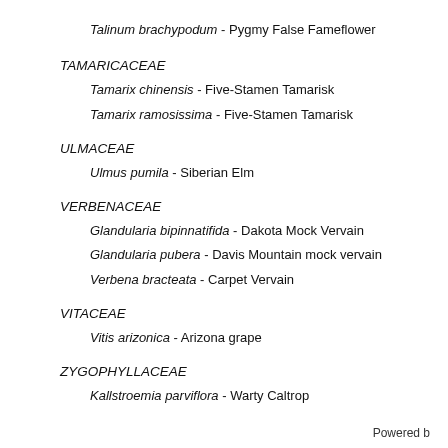Talinum brachypodum - Pygmy False Fameflower
TAMARICACEAE
Tamarix chinensis - Five-Stamen Tamarisk
Tamarix ramosissima - Five-Stamen Tamarisk
ULMACEAE
Ulmus pumila - Siberian Elm
VERBENACEAE
Glandularia bipinnatifida - Dakota Mock Vervain
Glandularia pubera - Davis Mountain mock vervain
Verbena bracteata - Carpet Vervain
VITACEAE
Vitis arizonica - Arizona grape
ZYGOPHYLLACEAE
Kallstroemia parviflora - Warty Caltrop
Powered b